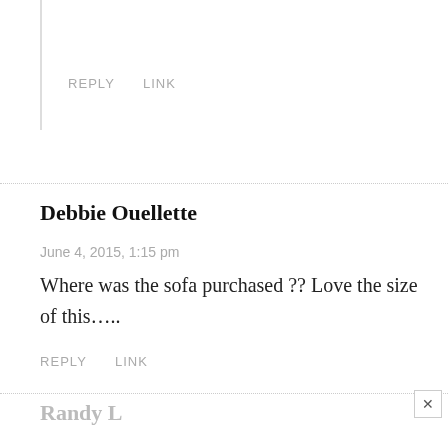REPLY    LINK
Debbie Ouellette
June 4, 2015, 1:15 pm
Where was the sofa purchased ?? Love the size of this…..
REPLY    LINK
Randy L